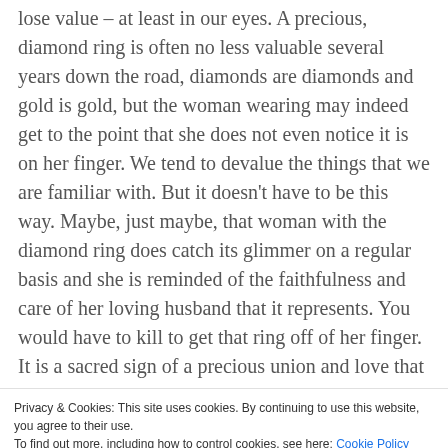lose value – at least in our eyes. A precious, diamond ring is often no less valuable several years down the road, diamonds are diamonds and gold is gold, but the woman wearing may indeed get to the point that she does not even notice it is on her finger. We tend to devalue the things that we are familiar with. But it doesn't have to be this way. Maybe, just maybe, that woman with the diamond ring does catch its glimmer on a regular basis and she is reminded of the faithfulness and care of her loving husband that it represents. You would have to kill to get that ring off of her finger. It is a sacred sign of a precious union and love that is relentless through the good and the bad.
Privacy & Cookies: This site uses cookies. By continuing to use this website, you agree to their use.
To find out more, including how to control cookies, see here: Cookie Policy